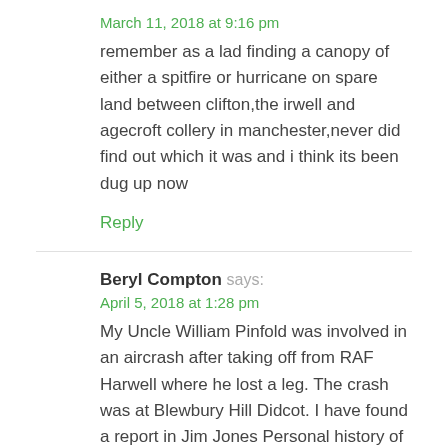March 11, 2018 at 9:16 pm
remember as a lad finding a canopy of either a spitfire or hurricane on spare land between clifton,the irwell and agecroft collery in manchester,never did find out which it was and i think its been dug up now
Reply
Beryl Compton says:
April 5, 2018 at 1:28 pm
My Uncle William Pinfold was involved in an aircrash after taking off from RAF Harwell where he lost a leg. The crash was at Blewbury Hill Didcot. I have found a report in Jim Jones Personal history of RAF Harwell which I think my be this accident"march 11th Wellington X3874 observed by schoolboys to roll over on it's back 600feet over Didcot and spiral down, it